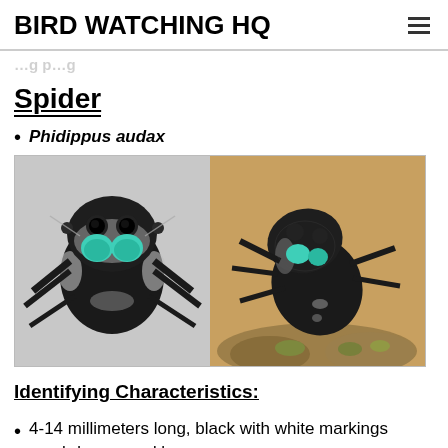BIRD WATCHING HQ
Spider
Phidippus audax
[Figure (photo): Two close-up macro photographs of a Bold Jumping Spider (Phidippus audax). Left image shows frontal view with green chelicerae on white/grey background. Right image shows angled view of the spider on a rocky surface with tan background.]
Identifying Characteristics:
4-14 millimeters long, black with white markings on abdomen and legs